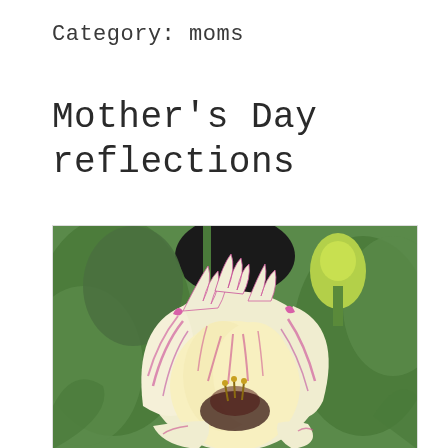Category: moms
Mother’s Day reflections
[Figure (photo): Close-up photo of a white and pink striped parrot tulip flower in bloom, with green leaves and a yellow-green tulip bud visible in the background. The petals are white with magenta/pink veining and frilly edges.]